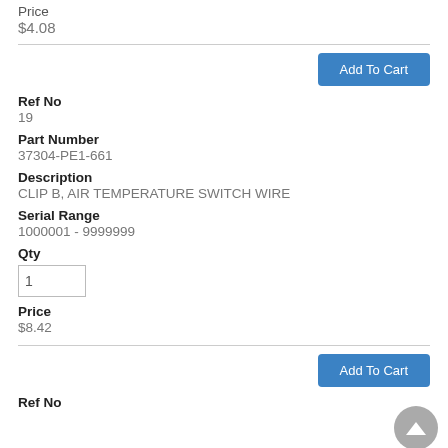Price
$4.08
Add To Cart
Ref No
19
Part Number
37304-PE1-661
Description
CLIP B, AIR TEMPERATURE SWITCH WIRE
Serial Range
1000001 - 9999999
Qty
Price
$8.42
Add To Cart
Ref No